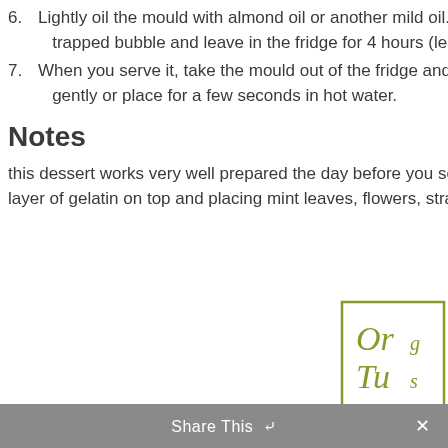6. Lightly oil the mould with almond oil or another mild oil. Pour in, remove any trapped bubble and leave in the fridge for 4 hours (less ti...
7. When you serve it, take the mould out of the fridge and tu... gently or place for a few seconds in hot water.
Notes
this dessert works very well prepared the day before you ser... layer of gelatin on top and placing mint leaves, flowers, stra...
[Figure (logo): Organic Tuscany logo — olive green serif italic text 'Org / Tus' inside a rectangular olive green border]
Share This ∨  ×